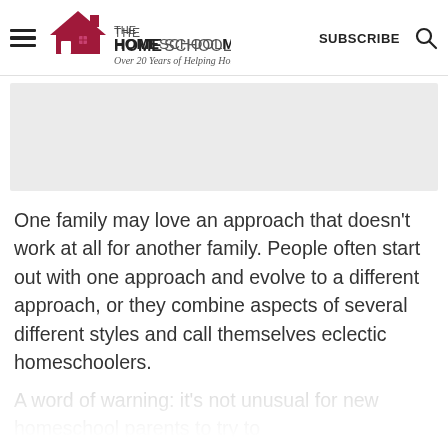THE HOMESCHOOL MOM — Over 20 Years of Helping Homeschoolers! | SUBSCRIBE | Search
[Figure (other): Advertisement placeholder box (light gray rectangle)]
One family may love an approach that doesn't work at all for another family. People often start out with one approach and evolve to a different approach, or they combine aspects of several different styles and call themselves eclectic homeschoolers.
A word of warning: it's not unusual for new homeschool parents to try to